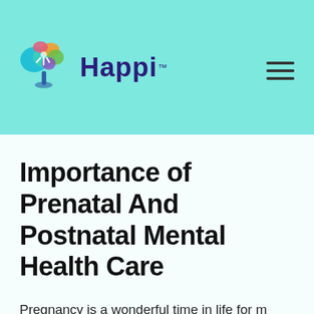Happi™ [logo + hamburger menu]
Importance of Prenatal And Postnatal Mental Health Care
Pregnancy is a wonderful time in life for mothers-to-be mothers, it brings with it the joy of becoming a parent, of experiencing changes in your body and